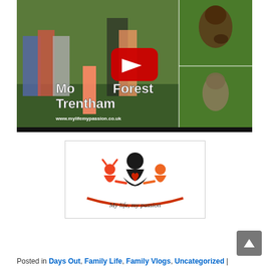[Figure (screenshot): YouTube video thumbnail for 'Monkey Forest Trentham' showing a family with children in a forest park alongside images of monkeys/chimpanzees, with a YouTube play button overlay and text 'Monkey Forest Trentham www.mylifemypassion.co.uk']
[Figure (logo): My Life, My Passion logo showing silhouette of a woman in black with two children (girl in red/pink on left, boy in orange on right) holding hands, with a red heart on the woman's chest, an orange arc beneath, and cursive text 'My life, my passion']
Posted in Days Out, Family Life, Family Vlogs, Uncategorized |